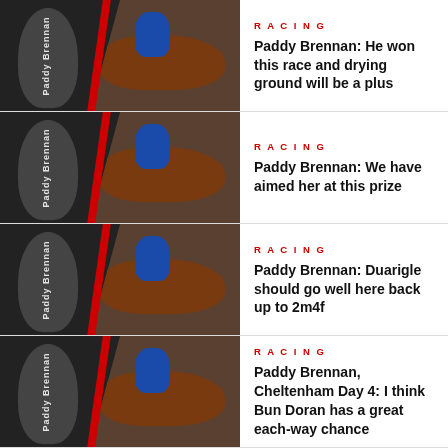[Figure (photo): Thumbnail composite of Paddy Brennan face and horse racing photo]
RACING
Paddy Brennan: He won this race and drying ground will be a plus
[Figure (photo): Thumbnail composite of Paddy Brennan face and horse racing photo]
RACING
Paddy Brennan: We have aimed her at this prize
[Figure (photo): Thumbnail composite of Paddy Brennan face and horse racing photo]
RACING
Paddy Brennan: Duarigle should go well here back up to 2m4f
[Figure (photo): Thumbnail composite of Paddy Brennan face and horse racing photo]
RACING
Paddy Brennan, Cheltenham Day 4: I think Bun Doran has a great each-way chance